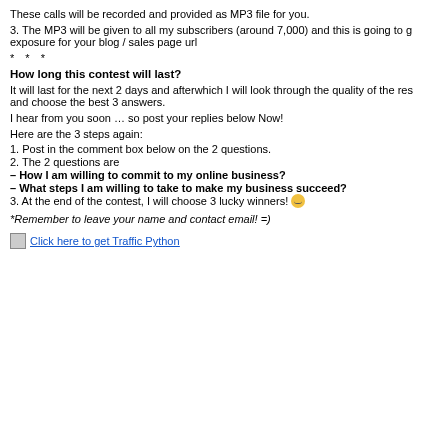These calls will be recorded and provided as MP3 file for you.
3. The MP3 will be given to all my subscribers (around 7,000) and this is going to give exposure for your blog / sales page url
* * *
How long this contest will last?
It will last for the next 2 days and afterwhich I will look through the quality of the res and choose the best 3 answers.
I hear from you soon … so post your replies below Now!
Here are the 3 steps again:
1. Post in the comment box below on the 2 questions.
2. The 2 questions are
– How I am willing to commit to my online business?
– What steps I am willing to take to make my business succeed?
3. At the end of the contest, I will choose 3 lucky winners!
*Remember to leave your name and contact email! =)
Click here to get Traffic Python